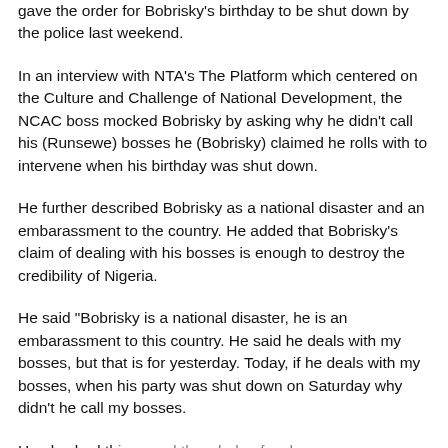gave the order for Bobrisky's birthday to be shut down by the police last weekend.
In an interview with NTA's The Platform which centered on the Culture and Challenge of National Development, the NCAC boss mocked Bobrisky by asking why he didn't call his (Runsewe) bosses he (Bobrisky) claimed he rolls with to intervene when his birthday was shut down.
He further described Bobrisky as a national disaster and an embarassment to the country. He added that Bobrisky's claim of dealing with his bosses is enough to destroy the credibility of Nigeria.
He said "Bobrisky is a national disaster, he is an embarassment to this country. He said he deals with my bosses, but that is for yesterday. Today, if he deals with my bosses, when his party was shut down on Saturday why didn't he call my bosses.
He also had things and the whole of a chance...